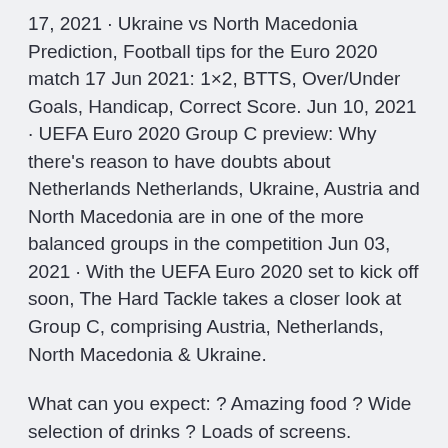17, 2021 · Ukraine vs North Macedonia Prediction, Football tips for the Euro 2020 match 17 Jun 2021: 1×2, BTTS, Over/Under Goals, Handicap, Correct Score. Jun 10, 2021 · UEFA Euro 2020 Group C preview: Why there's reason to have doubts about Netherlands Netherlands, Ukraine, Austria and North Macedonia are in one of the more balanced groups in the competition Jun 03, 2021 · With the UEFA Euro 2020 set to kick off soon, The Hard Tackle takes a closer look at Group C, comprising Austria, Netherlands, North Macedonia & Ukraine.
What can you expect: ? Amazing food ? Wide selection of drinks ? Loads of screens.